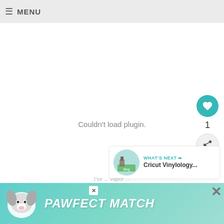☰ MENU
Couldn't load plugin.
[Figure (infographic): Teal circular heart/favorite button with white heart icon, count of 1, and share button below]
[Figure (infographic): WHAT'S NEXT panel showing Cricut Vinylology... with circular thumbnail]
[Figure (infographic): PAWFECT MATCH advertisement banner with dog image on teal/mint background]